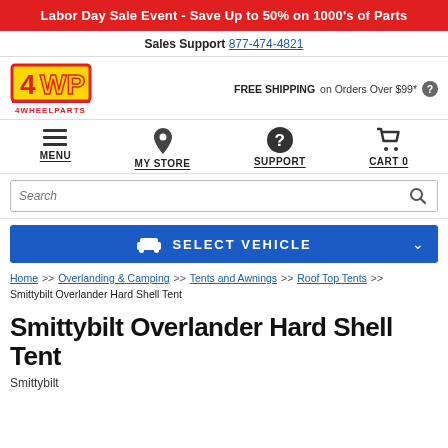Labor Day Sale Event - Save Up to 50% on 1000's of Parts
Sales Support 877-474-4821
[Figure (logo): 4WP 4WheelParts logo — yellow and red with bold stylized text]
FREE SHIPPING on Orders Over $99*
MENU | MY STORE | SUPPORT | CART 0
Search
SELECT VEHICLE
Home >> Overlanding & Camping >> Tents and Awnings >> Roof Top Tents >> Smittybilt Overlander Hard Shell Tent
Smittybilt Overlander Hard Shell Tent
Smittybilt